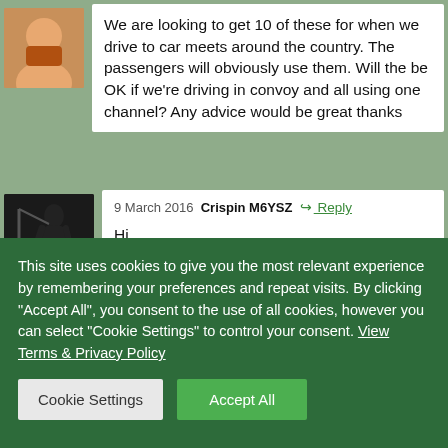We are looking to get 10 of these for when we drive to car meets around the country. The passengers will obviously use them. Will the be OK if we're driving in convoy and all using one channel? Any advice would be great thanks
9 March 2016  Crispin M6YSZ  Reply
Hi,
There are no legal ways of using these
This site uses cookies to give you the most relevant experience by remembering your preferences and repeat visits. By clicking "Accept All", you consent to the use of all cookies, however you can select "Cookie Settings" to control your consent. View Terms & Privacy Policy